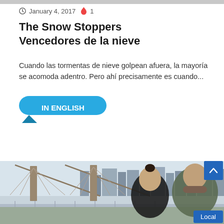[Figure (photo): Partial gray image strip at top of page]
January 4, 2017  🔥 1
The Snow Stoppers
Vencedores de la nieve
Cuando las tormentas de nieve golpean afuera, la mayoría se acomoda adentro. Pero ahí precisamente es cuando...
[Figure (other): IN ENGLISH button badge in blue with folded corner decoration]
Read More »
[Figure (photo): Two women smiling outdoors in winter coats with Queensboro Bridge and NYC skyline in background]